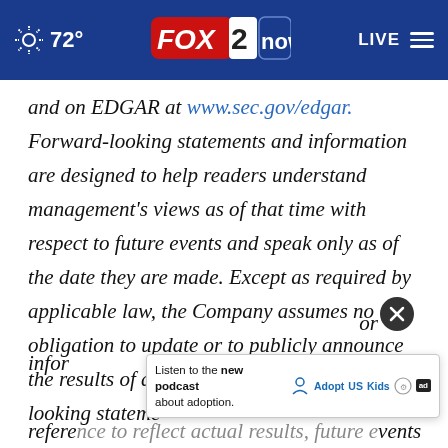FOX 2 now | 72° | LIVE
and on EDGAR at www.sec.gov/edgar. Forward-looking statements and information are designed to help readers understand management's views as of that time with respect to future events and speak only as of the date they are made. Except as required by applicable law, the Company assumes no obligation to update or to publicly announce the results of any change to any forward-looking statement or information. reference to reflect actual results, future events
Listen to the new podcast about adoption.